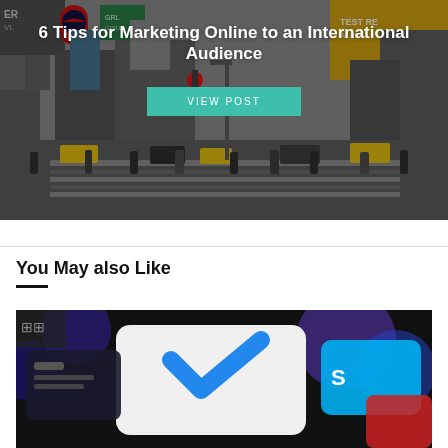[Figure (photo): Busy city street (Times Square) with crowds and colorful billboards, used as hero background image]
6 Tips for Marketing Online to an International Audience
VIEW POST
You May also Like
[Figure (photo): Close-up of smartphone apps/icons including what appears to be PayPal and Skype, on a dark background]